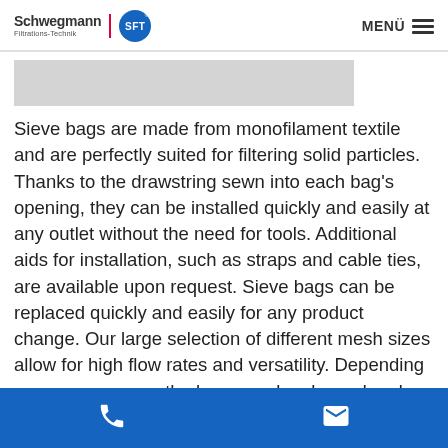Schwegmann Filtrations-Technik | SFT® | MENÜ
[Figure (photo): Gray placeholder image banner at top of page]
Sieve bags are made from monofilament textile and are perfectly suited for filtering solid particles. Thanks to the drawstring sewn into each bag's opening, they can be installed quickly and easily at any outlet without the need for tools. Additional aids for installation, such as straps and cable ties, are available upon request. Sieve bags can be replaced quickly and easily for any product change. Our large selection of different mesh sizes allow for high flow rates and versatility. Depending on your use case, the bags can be cleaned and used
Phone and email contact icons